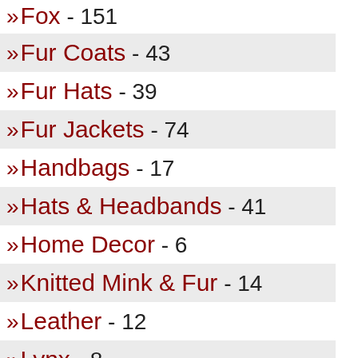» Fox - 151
» Fur Coats - 43
» Fur Hats - 39
» Fur Jackets - 74
» Handbags - 17
» Hats & Headbands - 41
» Home Decor - 6
» Knitted Mink & Fur - 14
» Leather - 12
» Lynx - 8
» Mens - 54
» Mink - 508
» Plus Size - 183